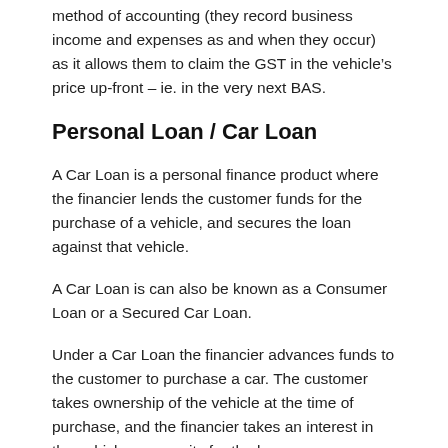method of accounting (they record business income and expenses as and when they occur) as it allows them to claim the GST in the vehicle’s price up-front – ie. in the very next BAS.
Personal Loan / Car Loan
A Car Loan is a personal finance product where the financier lends the customer funds for the purchase of a vehicle, and secures the loan against that vehicle.
A Car Loan is can also be known as a Consumer Loan or a Secured Car Loan.
Under a Car Loan the financier advances funds to the customer to purchase a car. The customer takes ownership of the vehicle at the time of purchase, and the financier takes an interest in the vehicle as security for the loan.
Once the contract is completed, the financier lifts their